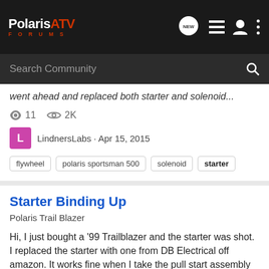PolarisATV FORUMS
Search Community
went ahead and replaced both starter and solenoid...
11 comments, 2K views
LindnersLabs · Apr 15, 2015
flywheel
polaris sportsman 500
solenoid
starter
Starter Binding Up
Polaris Trail Blazer
Hi, I just bought a '99 Trailblazer and the starter was shot. I replaced the starter with one from DB Electrical off amazon. It works fine when I take the pull start assembly off but as soon as I put it back on the starter drive is hitting something and will just click once and won't turn over...
1 comment, 1K views